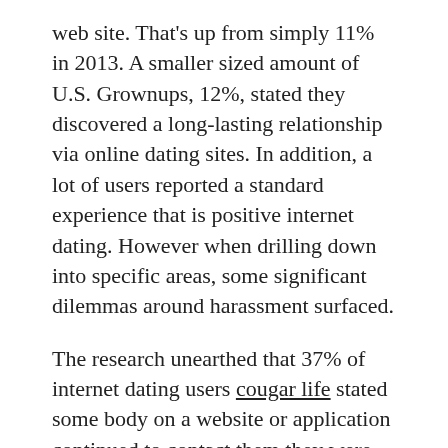web site. That's up from simply 11% in 2013. A smaller sized amount of U.S. Grownups, 12%, stated they discovered a long-lasting relationship via online dating sites. In addition, a lot of users reported a standard experience that is positive internet dating. However when drilling down into specific areas, some significant dilemmas around harassment surfaced.
The research unearthed that 37% of internet dating users cougar life stated some body on a website or application continued to contact them they were not interested, 35% said they were sent an explicit message or image they didn't ask for and 28% were called an offensive name after they said. A smaller sized portion (9%) said these were threatened with real damage.
Throughout the board, these figures had